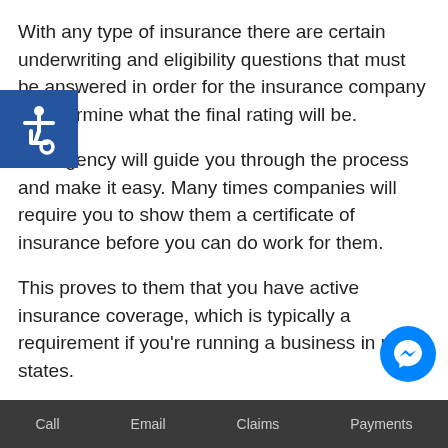With any type of insurance there are certain underwriting and eligibility questions that must be answered in order for the insurance company to determine what the final rating will be.
Our agency will guide you through the process and make it easy. Many times companies will require you to show them a certificate of insurance before you can do work for them.
This proves to them that you have active insurance coverage, which is typically a requirement if you're running a business in most states.
If you're confused by any of this don't worry,
[Figure (other): Blue square accessibility icon with wheelchair symbol in white, positioned at top-left of page]
[Figure (other): Blue circular Facebook Messenger icon with lightning bolt chat symbol in white, positioned at bottom-right]
Call    Email    Claims    Payments